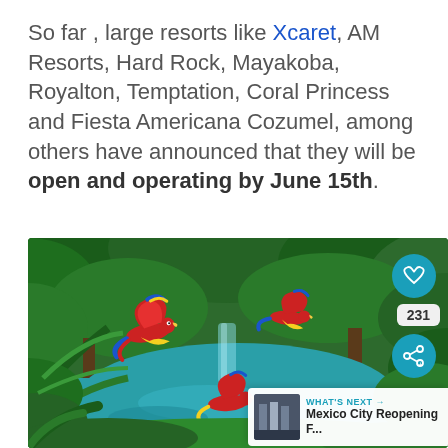So far , large resorts like Xcaret, AM Resorts, Hard Rock, Mayakoba, Royalton, Temptation, Coral Princess and Fiesta Americana Cozumel, among others have announced that they will be open and operating by June 15th.
[Figure (photo): Tropical jungle river scene with scarlet macaws flying over turquoise water, lush green foliage on both sides. Social media UI overlay with heart button (231 likes), share button, and 'What's Next' card showing Mexico City Reopening.]